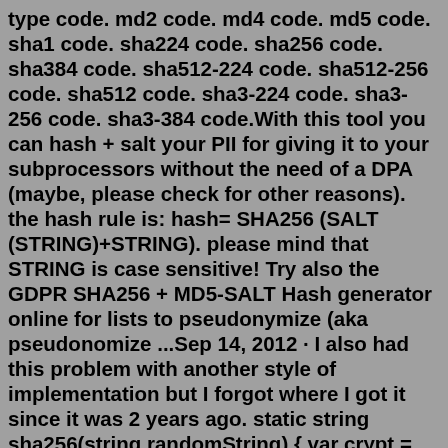type code. md2 code. md4 code. md5 code. sha1 code. sha224 code. sha256 code. sha384 code. sha512-224 code. sha512-256 code. sha512 code. sha3-224 code. sha3-256 code. sha3-384 code.With this tool you can hash + salt your PII for giving it to your subprocessors without the need of a DPA (maybe, please check for other reasons). the hash rule is: hash= SHA256 (SALT (STRING)+STRING). please mind that STRING is case sensitive! Try also the GDPR SHA256 + MD5-SALT Hash generator online for lists to pseudonymize (aka pseudonomize ...Sep 14, 2012 · I also had this problem with another style of implementation but I forgot where I got it since it was 2 years ago. static string sha256(string randomString) { var crypt = new SHA256Managed(); string hash = String.Empty; byte[] crypto = crypt.ComputeHash(Encoding.ASCII.GetBytes(random foreach (byte theByte in crypto) { hash += theByte.ToString("x2"); } return hash; } Online hash generator using MD5, SHA1, SHA256, SHA384, SHA512, CRC32, CRC32B, GOST, WHIRLPOOL,